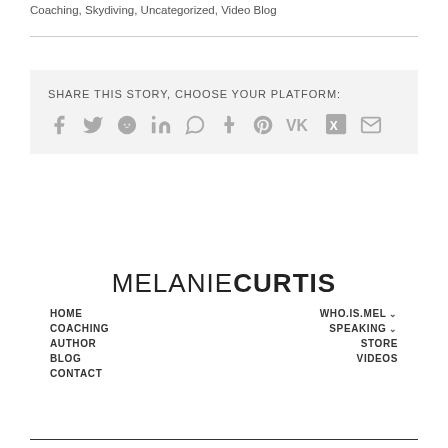Coaching, Skydiving, Uncategorized, Video Blog
SHARE THIS STORY, CHOOSE YOUR PLATFORM:
[Figure (infographic): Social media share icons: Facebook, Twitter, Reddit, LinkedIn, WhatsApp, Tumblr, Pinterest, VK, Xing, Email]
[Figure (logo): Melanie Curtis logo in uppercase text, MELANIE in light weight, CURTIS in bold]
HOME | WHO.IS.MEL | COACHING | SPEAKING | AUTHOR | STORE | BLOG | VIDEOS | CONTACT